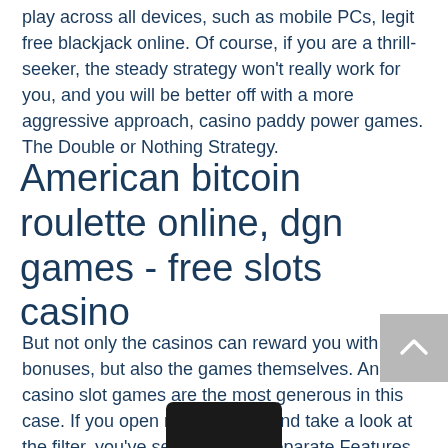play across all devices, such as mobile PCs, legit free blackjack online. Of course, if you are a thrill-seeker, the steady strategy won't really work for you, and you will be better off with a more aggressive approach, casino paddy power games. The Double or Nothing Strategy.
American bitcoin roulette online, dgn games - free slots casino
But not only the casinos can reward you with bonuses, but also the games themselves. And casino slot games are the most generous in this case. If you open my game list and take a look at the filter, you've see there is a separate Features filter with a lot of weird unknown words in it, best casino near lafayette la. How to Play Slots Online, best casino near lafayette la. Signing up at a reputable online those below, is